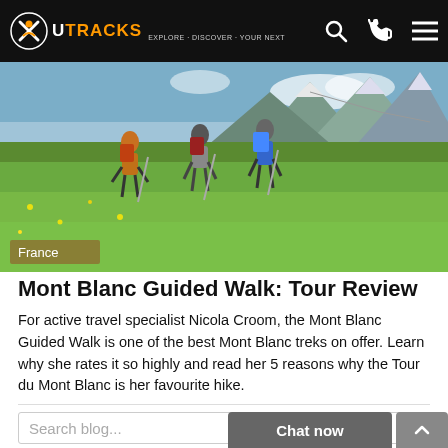UTRACKS
[Figure (photo): Hikers with backpacks walking up a steep green alpine meadow with rocky snow-capped mountains in the background. A 'France' badge overlays the bottom-left corner.]
Mont Blanc Guided Walk: Tour Review
For active travel specialist Nicola Croom, the Mont Blanc Guided Walk is one of the best Mont Blanc treks on offer. Learn why she rates it so highly and read her 5 reasons why the Tour du Mont Blanc is her favourite hike.
Search blog...